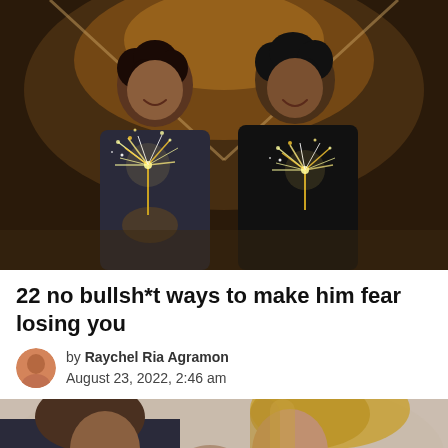[Figure (photo): A young couple sitting together holding sparklers outdoors at night near a tent, smiling and happy]
22 no bullsh*t ways to make him fear losing you
by Raychel Ria Agramon
August 23, 2022, 2:46 am
[Figure (photo): A couple about to kiss, close-up shot with soft focus background, partially cut off at bottom]